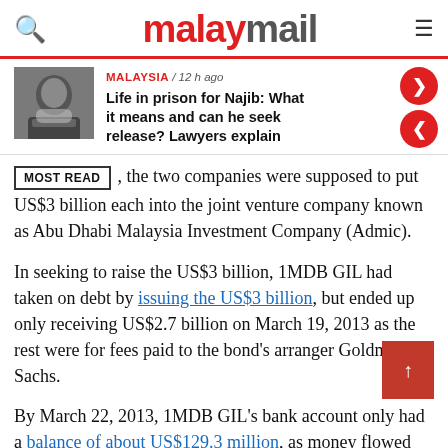malaymail
[Figure (photo): Photo of a man wearing a mask, news thumbnail]
MALAYSIA / 12 h ago
Life in prison for Najib: What it means and can he seek release? Lawyers explain
, the two companies were supposed to put US$3 billion each into the joint venture company known as Abu Dhabi Malaysia Investment Company (Admic).
In seeking to raise the US$3 billion, 1MDB GIL had taken on debt by issuing the US$3 billion, but ended up only receiving US$2.7 billion on March 19, 2013 as the rest were for fees paid to the bond's arranger Goldman Sachs.
By March 22, 2013, 1MDB GIL's bank account only had a balance of about US$129.3 million, as money flowed out of the company without the 1MDB board being